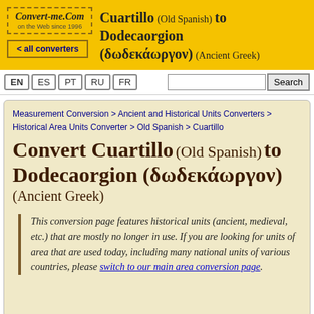Convert-me.Com on the Web since 1996 | < all converters
Cuartillo (Old Spanish) to Dodecaorgion (δωδεκάωργον) (Ancient Greek)
EN ES PT RU FR Search
Measurement Conversion > Ancient and Historical Units Converters > Historical Area Units Converter > Old Spanish > Cuartillo
Convert Cuartillo (Old Spanish) to Dodecaorgion (δωδεκάωργον) (Ancient Greek)
This conversion page features historical units (ancient, medieval, etc.) that are mostly no longer in use. If you are looking for units of area that are used today, including many national units of various countries, please switch to our main area conversion page.